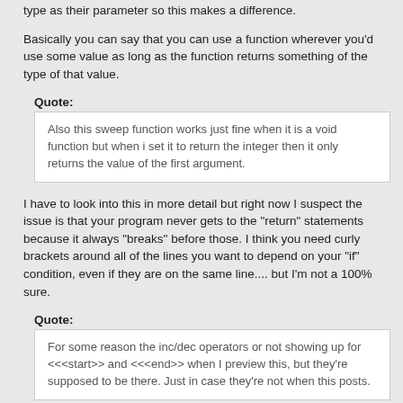type as their parameter so this makes a difference.
Basically you can say that you can use a function wherever you'd use some value as long as the function returns something of the type of that value.
Quote:
Also this sweep function works just fine when it is a void function but when i set it to return the integer then it only returns the value of the first argument.
I have to look into this in more detail but right now I suspect the issue is that your program never gets to the "return" statements because it always "breaks" before those. I think you need curly brackets around all of the lines you want to depend on your "if" condition, even if they are on the same line.... but I'm not a 100% sure.
Quote:
For some reason the inc/dec operators or not showing up for <<<start>> and <<<end>> when I preview this, but they're supposed to be there. Just in case they're not when this posts.